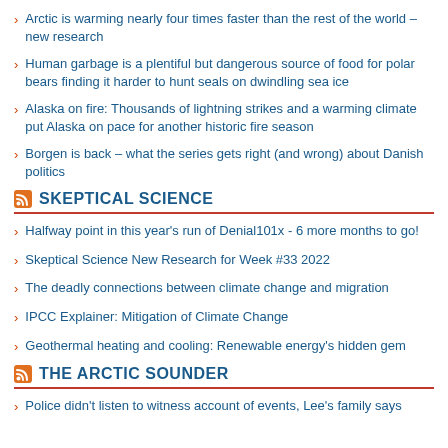Arctic is warming nearly four times faster than the rest of the world – new research
Human garbage is a plentiful but dangerous source of food for polar bears finding it harder to hunt seals on dwindling sea ice
Alaska on fire: Thousands of lightning strikes and a warming climate put Alaska on pace for another historic fire season
Borgen is back – what the series gets right (and wrong) about Danish politics
SKEPTICAL SCIENCE
Halfway point in this year's run of Denial101x - 6 more months to go!
Skeptical Science New Research for Week #33 2022
The deadly connections between climate change and migration
IPCC Explainer: Mitigation of Climate Change
Geothermal heating and cooling: Renewable energy's hidden gem
THE ARCTIC SOUNDER
Police didn't listen to witness account of events, Lee's family says